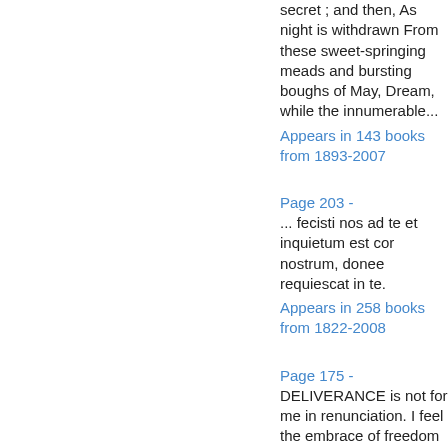secret ; and then, As night is withdrawn From these sweet-springing meads and bursting boughs of May, Dream, while the innumerable...
Appears in 143 books from 1893-2007
Page 203 - ... fecisti nos ad te et inquietum est cor nostrum, donee requiescat in te.
Appears in 258 books from 1822-2008
Page 175 - DELIVERANCE is not for me in renunciation. I feel the embrace of freedom in a thousand bonds of delight. Thou ever pourest for me the fresh